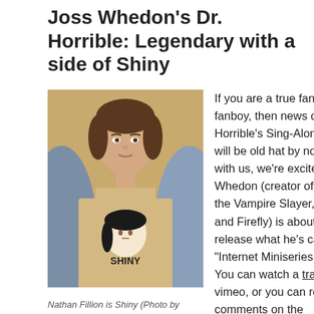Joss Whedon's Dr. Horrible: Legendary with a side of Shiny
[Figure (photo): Nathan Fillion wearing a beige t-shirt with a Shiny logo/illustration, opening his jacket to reveal it, studio portrait style.]
Nathan Fillion is Shiny (Photo by RavenU)
If you are a true fangirl or fanboy, then news of "Dr. Horrible's Sing-Along Blog" will be old hat by now. Bear with us, we're excited: Joss Whedon (creator of Buffy the Vampire Slayer, Angel and Firefly) is about to release what he's calling an "Internet Miniseries Event." You can watch a trailer via vimeo, or you can read his comments on the